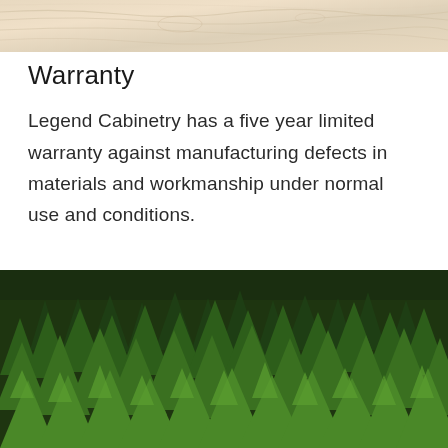[Figure (photo): Close-up of light-colored wood grain texture, cream/beige tones]
Warranty
Legend Cabinetry has a five year limited warranty against manufacturing defects in materials and workmanship under normal use and conditions.
[Figure (photo): Aerial view of a dense forest of tall green pine/fir trees]